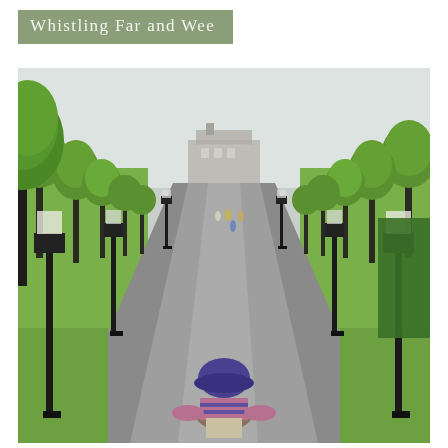Whistling Far and Wee
[Figure (photo): A long tree-lined avenue in a park leading to a grand building in the distance. Tall green trees line both sides of a wide paved path. Vintage-style black lamp posts stand along the path. People walk in the far distance. In the foreground, a small child in a purple hat and striped outfit crouches down on the path, seen from behind.]